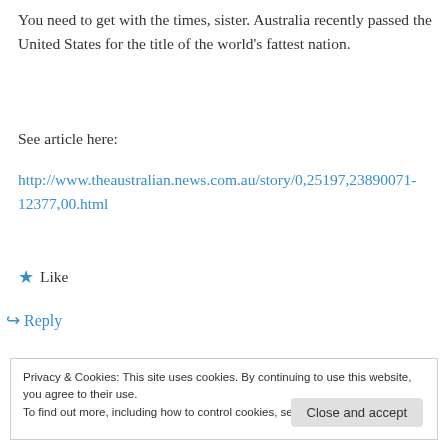You need to get with the times, sister. Australia recently passed the United States for the title of the world's fattest nation.
See article here:
http://www.theaustralian.news.com.au/story/0,25197,23890071-12377,00.html
★ Like
↪ Reply
Privacy & Cookies: This site uses cookies. By continuing to use this website, you agree to their use.
To find out more, including how to control cookies, see here: Cookie Policy